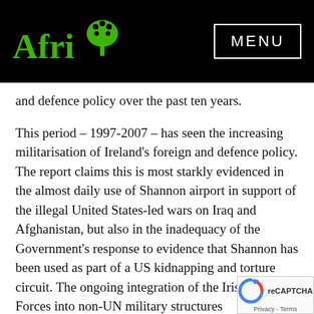Afri [logo] MENU
and defence policy over the past ten years.
This period – 1997-2007 – has seen the increasing militarisation of Ireland's foreign and defence policy. The report claims this is most starkly evidenced in the almost daily use of Shannon airport in support of the illegal United States-led wars on Iraq and Afghanistan, but also in the inadequacy of the Government's response to evidence that Shannon has been used as part of a US kidnapping and torture circuit. The ongoing integration of the Irish Defence Forces into non-UN military structures